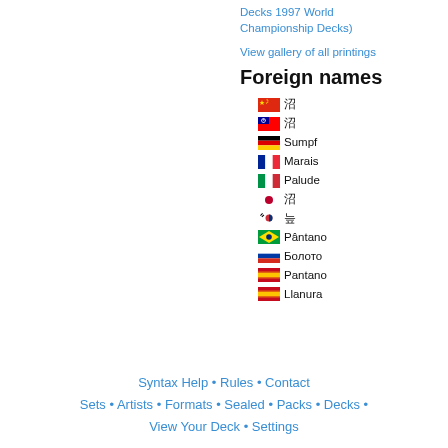Decks 1997 World Championship Decks)
View gallery of all printings
Foreign names
🇨🇳 沼
🇹🇼 沼
🇩🇪 Sumpf
🇫🇷 Marais
🇮🇹 Palude
🇯🇵 沼
🇰🇷 늪
🇧🇷 Pântano
🇷🇺 Болото
🇪🇸 Pantano
🇪🇸 Llanura
Syntax Help • Rules • Contact • Sets • Artists • Formats • Sealed • Packs • Decks • View Your Deck • Settings